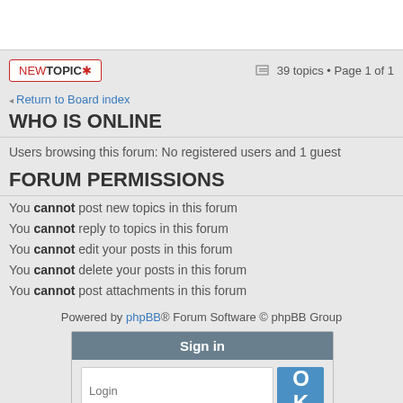NEWTOPIC★   39 topics • Page 1 of 1
Return to Board index
WHO IS ONLINE
Users browsing this forum: No registered users and 1 guest
FORUM PERMISSIONS
You cannot post new topics in this forum
You cannot reply to topics in this forum
You cannot edit your posts in this forum
You cannot delete your posts in this forum
You cannot post attachments in this forum
Powered by phpBB® Forum Software © phpBB Group
[Figure (screenshot): Sign in panel with Login and Password fields, OK button, Sign up and I forgot my password links]
jeu-gratuit.net | more partners